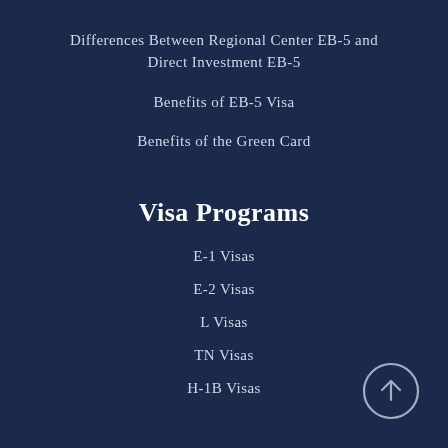Differences Between Regional Center EB-5 and Direct Investment EB-5
Benefits of EB-5 Visa
Benefits of the Green Card
Visa Programs
E-1 Visas
E-2 Visas
L Visas
TN Visas
H-1B Visas